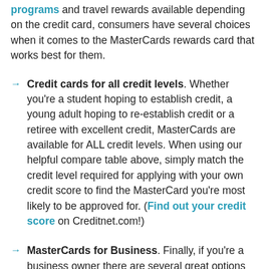programs and travel rewards available depending on the credit card, consumers have several choices when it comes to the MasterCards rewards card that works best for them.
Credit cards for all credit levels. Whether you're a student hoping to establish credit, a young adult hoping to re-establish credit or a retiree with excellent credit, MasterCards are available for ALL credit levels. When using our helpful compare table above, simply match the credit level required for applying with your own credit score to find the MasterCard you're most likely to be approved for. (Find out your credit score on Creditnet.com!)
MasterCards for Business. Finally, if you're a business owner there are several great options when considering a MasterCard business card. Tailored for your business' needs, MasterCard business rewards cards are some of